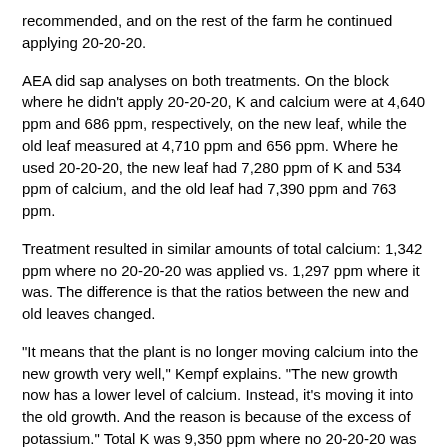recommended, and on the rest of the farm he continued applying 20-20-20.
AEA did sap analyses on both treatments. On the block where he didn't apply 20-20-20, K and calcium were at 4,640 ppm and 686 ppm, respectively, on the new leaf, while the old leaf measured at 4,710 ppm and 656 ppm. Where he used 20-20-20, the new leaf had 7,280 ppm of K and 534 ppm of calcium, and the old leaf had 7,390 ppm and 763 ppm.
Treatment resulted in similar amounts of total calcium: 1,342 ppm where no 20-20-20 was applied vs. 1,297 ppm where it was. The difference is that the ratios between the new and old leaves changed.
"It means that the plant is no longer moving calcium into the new growth very well," Kempf explains. "The new growth now has a lower level of calcium. Instead, it's moving it into the old growth. And the reason is because of the excess of potassium." Total K was 9,350 ppm where no 20-20-20 was applied and 14,670 where it was.